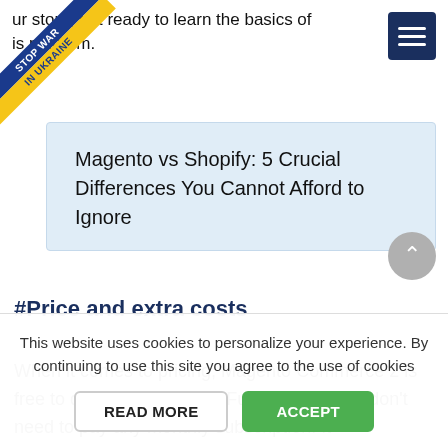[Figure (other): Stop War in Ukraine ribbon/badge in top-left corner, blue and yellow diagonal banner]
[Figure (other): Hamburger menu icon, three white horizontal lines on dark navy background]
our store, get ready to learn the basics of this platform.
Magento vs Shopify: 5 Crucial Differences You Cannot Afford to Ignore
#Price and extra costs
When it comes to pricing, Magento Commerce 2 is free to download and use. Furthermore, you don't need to pay any monthly subscription. It
[Figure (other): Scroll-to-top circular button with upward chevron arrow, grey background]
This website uses cookies to personalize your experience. By continuing to use this site you agree to the use of cookies
READ MORE  ACCEPT